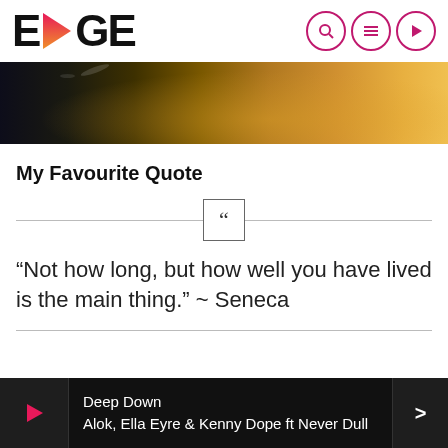EDGE
[Figure (photo): Dark to golden warm-toned hero banner image, abstract bokeh/water surface with warm light]
My Favourite Quote
[Figure (illustration): Horizontal divider line with a centered square box containing double quotation marks]
“Not how long, but how well you have lived is the main thing.” ~ Seneca
Deep Down
Alok, Ella Eyre & Kenny Dope ft Never Dull